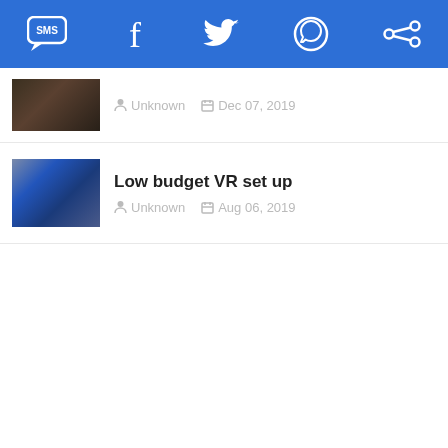Navigation bar with SMS, Facebook, Twitter, WhatsApp, and a share/sync icon
Unknown  Dec 07, 2019
Low budget VR set up  Unknown  Aug 06, 2019